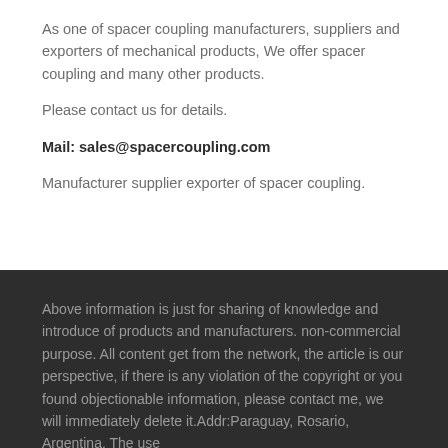As one of spacer coupling manufacturers, suppliers and exporters of mechanical products, We offer spacer coupling and many other products.
Please contact us for details.
Mail: sales@spacercoupling.com
Manufacturer supplier exporter of spacer coupling.
Above information is just for sharing of knowledge and introduce of products and manufacturers. non-commercial purpose. All content get from the network, the article is our perspective, if there is any violation of the copyright or you found objectionable information, please contact me, we will immediately delete it.Addr:Paraguay, Rosario, Argentina. The use